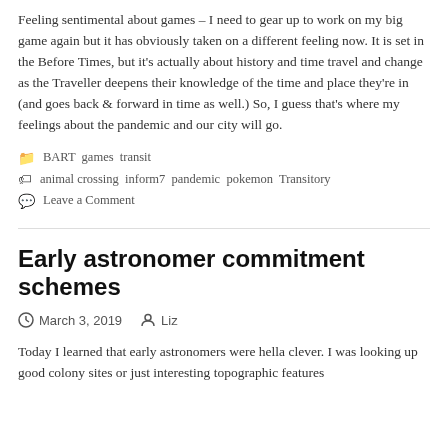Feeling sentimental about games – I need to gear up to work on my big game again but it has obviously taken on a different feeling now. It is set in the Before Times, but it's actually about history and time travel and change as the Traveller deepens their knowledge of the time and place they're in (and goes back & forward in time as well.) So, I guess that's where my feelings about the pandemic and our city will go.
📁 BART games transit
🏷 animal crossing inform7 pandemic pokemon Transitory
💬 Leave a Comment
Early astronomer commitment schemes
March 3, 2019   Liz
Today I learned that early astronomers were hella clever. I was looking up good colony sites or just interesting topographic features